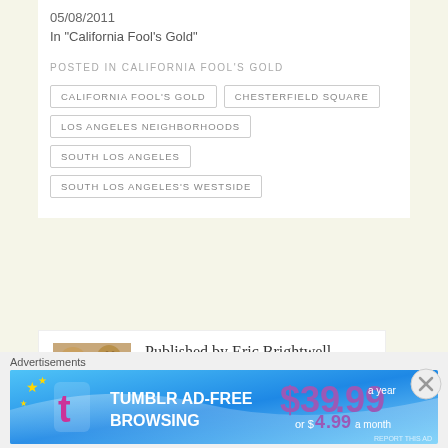05/08/2011
In "California Fool's Gold"
POSTED IN CALIFORNIA FOOL'S GOLD
CALIFORNIA FOOL'S GOLD
CHESTERFIELD SQUARE
LOS ANGELES NEIGHBORHOODS
SOUTH LOS ANGELES
SOUTH LOS ANGELES'S WESTSIDE
Published by Eric Brightwell
Eric Brightwell is an essayist, rambler, explorer, cartographer, and guerrilla gardener. He lives in
[Figure (photo): Author photo of Eric Brightwell]
Advertisements
[Figure (other): Tumblr Ad-Free Browsing advertisement banner: $39.99 a year or $4.99 a month]